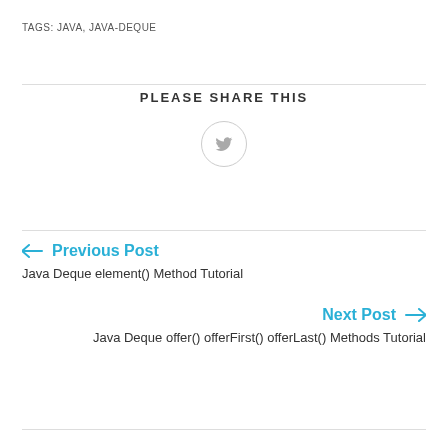TAGS: JAVA, JAVA-DEQUE
PLEASE SHARE THIS
[Figure (other): Twitter share button icon in a circle]
← Previous Post
Java Deque element() Method Tutorial
Next Post →
Java Deque offer() offerFirst() offerLast() Methods Tutorial